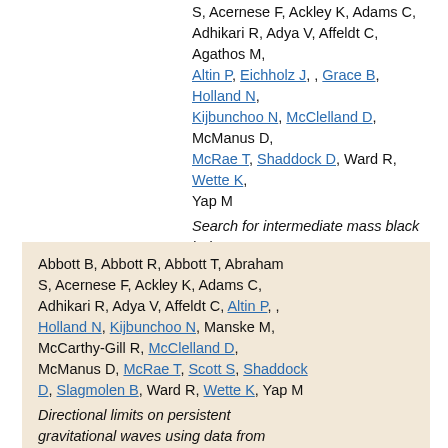S, Acernese F, Ackley K, Adams C, Adhikari R, Adya V, Affeldt C, Agathos M, Altin P, Eichholz J, , Grace B, Holland N, Kijbunchoo N, McClelland D, McManus D, McRae T, Shaddock D, Ward R, Wette K, Yap M
Search for intermediate mass black hole binaries in the first and second observing runs of the Advanced LIGO and Virgo network
Physical Review D 100, 6(2019)
Abbott B, Abbott R, Abbott T, Abraham S, Acernese F, Ackley K, Adams C, Adhikari R, Adya V, Affeldt C, Altin P, , Holland N, Kijbunchoo N, Manske M, McCarthy-Gill R, McClelland D, McManus D, McRae T, Scott S, Shaddock D, Slagmolen B, Ward R, Wette K, Yap M
Directional limits on persistent gravitational waves using data from Advanced LIGO's first two observing runs
Physical Review D 100, 6(2019) 1-14